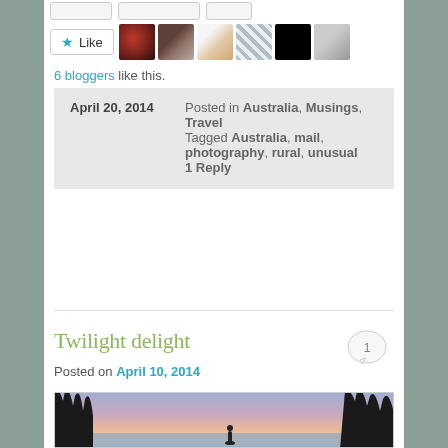[Figure (other): Like button with star icon and six blogger avatar thumbnails]
6 bloggers like this.
April 20, 2014  Posted in Australia, Musings, Travel Tagged Australia, mail, photography, rural, unusual 1 Reply
Twilight delight
Posted on April 10, 2014
[Figure (photo): Twilight beach scene with silhouetted trees and a person standing near the water, pink and purple sky]